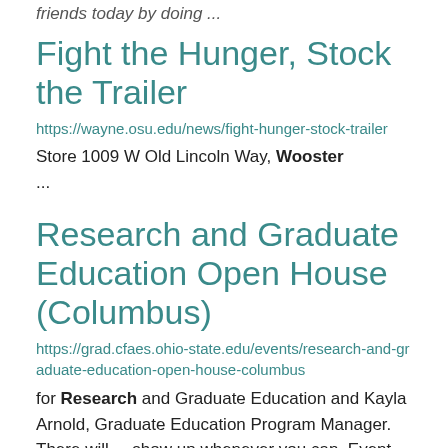friends today by doing ...
Fight the Hunger, Stock the Trailer
https://wayne.osu.edu/news/fight-hunger-stock-trailer
Store 1009 W Old Lincoln Way, Wooster
...
Research and Graduate Education Open House (Columbus)
https://grad.cfaes.ohio-state.edu/events/research-and-graduate-education-open-house-columbus
for Research and Graduate Education and Kayla Arnold, Graduate Education Program Manager. There will ... show up whenever you can. Event will be in the Columbus